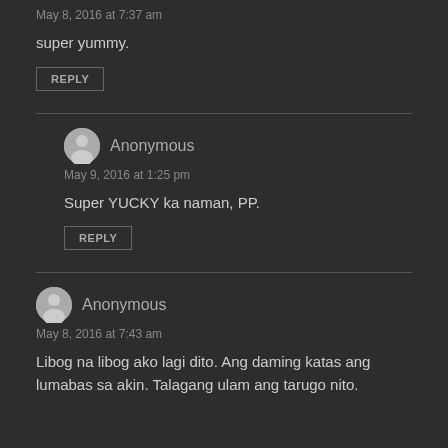May 8, 2016 at 7:37 am
super yummy.
REPLY
Anonymous
May 9, 2016 at 1:25 pm
Super YUCKY ka naman, PP.
REPLY
Anonymous
May 8, 2016 at 7:43 am
Libog na libog ako lagi dito. Ang daming katas ang lumabas sa akin. Talagang ulam ang tarugo nito.